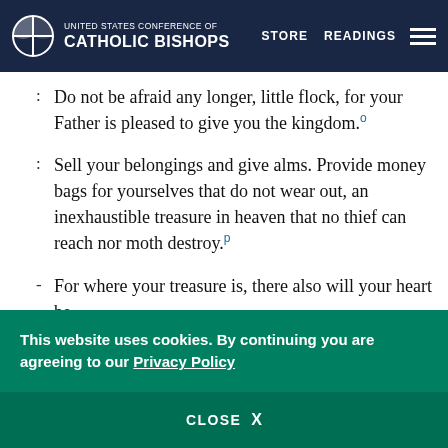instead, seek his kingdom, and these other things
[Figure (logo): United States Conference of Catholic Bishops logo with navigation links STORE and READINGS and hamburger menu]
Do not be afraid any longer, little flock, for your Father is pleased to give you the kingdom.[o]
Sell your belongings and give alms. Provide money bags for yourselves that do not wear out, an inexhaustible treasure in heaven that no thief can reach nor moth destroy.[p]
For where your treasure is, there also will your heart be.
This website uses cookies. By continuing you are agreeing to our Privacy Policy
CLOSE X